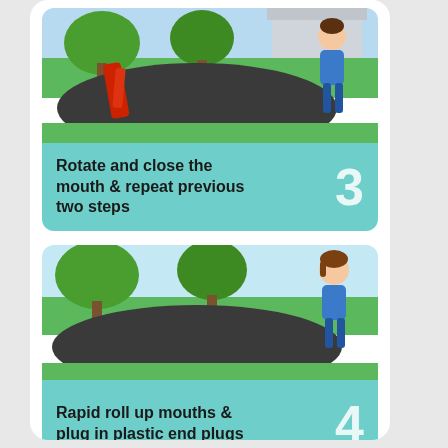[Figure (illustration): Cartoon illustration of an outdoor scene with green grass, trees, dark path/road, and a person in blue clothing. A red object is visible on the left side. This is step 3 of an instructional guide.]
Rotate and close the mouth & repeat previous two steps 3
[Figure (illustration): Cartoon illustration of an outdoor scene with green grass, trees, dark path/road, and a person with brown hair in blue clothing on the right side. This is step 4 of an instructional guide.]
Rapid roll up mouths & plug in plastic end plugs 4